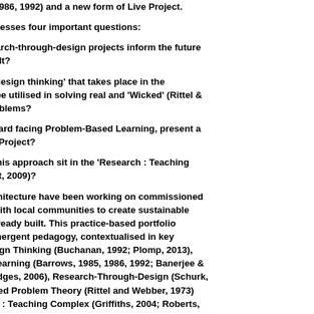s, 1985, 1986, 1992) and a new form of Live Project.
arch addresses four important questions:
can research-through-design projects inform the future ready built?
can the 'design thinking' that takes place in the c atelier be utilised in solving real and 'Wicked' (Rittel & 1973) problems?
this outward facing Problem-Based Learning, present a n of Live Project?
re does this approach sit in the 'Research : Teaching k' (Haslett, 2009)?
ity in Architecture have been working on commissioned (2014 -) with local communities to create sustainable for the already built. This practice-based portfolio s their emergent pedagogy, contextualised in key e on Design Thinking (Buchanan, 1992; Plomp, 2013), -Based Learning (Barrows, 1985, 1986, 1992; Banerjee & 1996; Bridges, 2006), Research-Through-Design (Schurk, 15), Wicked Problem Theory (Rittel and Webber, 1973) Research : Teaching Complex (Griffiths, 2004; Roberts, nslett, 2009).
reground of this portfolio is a specific funded (£15,000) rconducted by Continuity in Architecture atelier in the